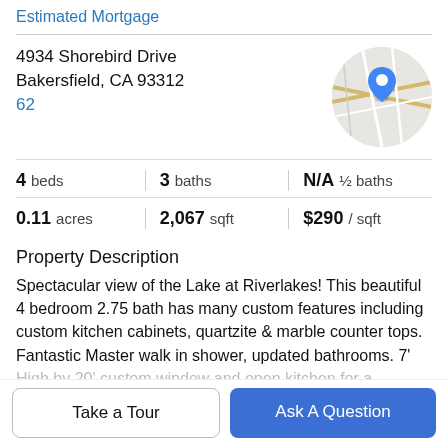Estimated Mortgage
4934 Shorebird Drive
Bakersfield, CA 93312
62
[Figure (map): Circular map thumbnail showing a street map with a blue location pin marker]
4 beds | 3 baths | N/A ½ baths
0.11 acres | 2,067 sqft | $290 / sqft
Property Description
Spectacular view of the Lake at Riverlakes! This beautiful 4 bedroom 2.75 bath has many custom features including custom kitchen cabinets, quartzite & marble counter tops. Fantastic Master walk in shower, updated bathrooms. 7' High by 20' custom window and open kitchen for a
Take a Tour
Ask A Question